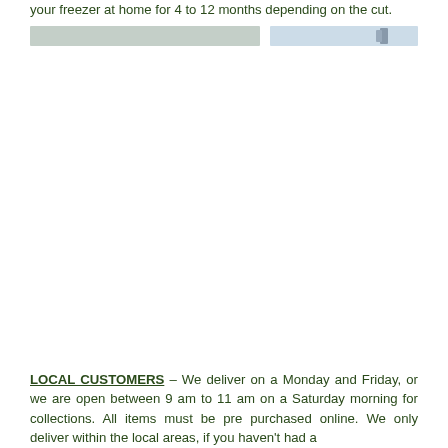your freezer at home for 4 to 12 months depending on the cut.
[Figure (photo): Partial view of a photo showing what appears to be a snowy or icy outdoor scene, with a figure visible on the right side.]
LOCAL CUSTOMERS – We deliver on a Monday and Friday, or we are open between 9 am to 11 am on a Saturday morning for collections. All items must be pre purchased online. We only deliver within the local areas, if you haven't had a